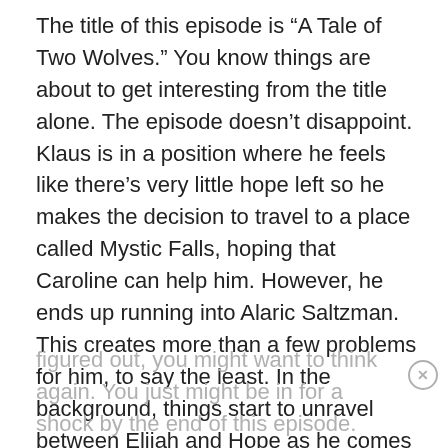The title of this episode is “A Tale of Two Wolves.” You know things are about to get interesting from the title alone. The episode doesn’t disappoint. Klaus is in a position where he feels like there’s very little hope left so he makes the decision to travel to a place called Mystic Falls, hoping that Caroline can help him. However, he ends up running into Alaric Saltzman. This creates more than a few problems for him, to say the least. In the background, things start to unravel between Elijah and Hope as he comes to his senses and realizes something that breaks his heart. This is an episode that will keep you riveted to your seat but you might want to have a box of tissues nearby as well. By the way, if you think you have the plot figured out, you might want to think again. You just might be in for a shock by the end of this episode.